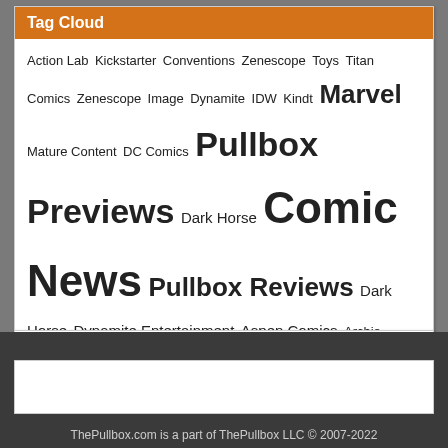Tag Cloud
Action Lab Kickstarter Conventions Zenescope Toys Titan Comics Zenescope Image Dynamite IDW Kindt Marvel Mature Content DC Comics Pullbox Previews Dark Horse Comic News Pullbox Reviews Dark Horse Dynamite Entertainment Aspen Comics Archie Comics Games Independent Comic Reviews Boom Studios comiXology Image Comics Archie Comics TV Kickstarter Family Friendly Book News Dynamite Entertainment IDW Titan Valiant Valiant Movies BOOM! Studios BOOM! Studios Action Lab Marvel Uncategorized C2E2
ThePullbox.com is a part of ThePullbox LLC © 2007-2022